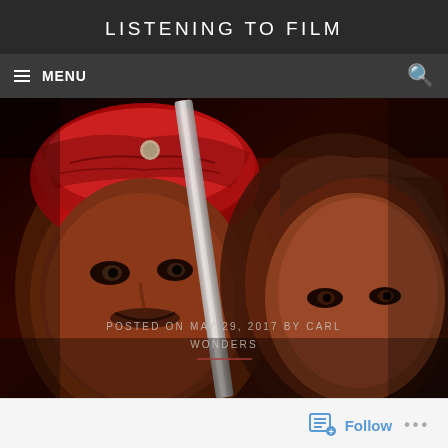LISTENING TO FILM
≡  MENU
[Figure (photo): Movie poster image showing two characters: on the left a man wearing a red bandana with a sword, on the right a woman with flowing hair. Overlay text reads: POSTED ON MAY 29, 2017 BY CARL WONDERS]
POSTED ON MAY 29, 2017 BY CARL WONDERS
Follow  ...